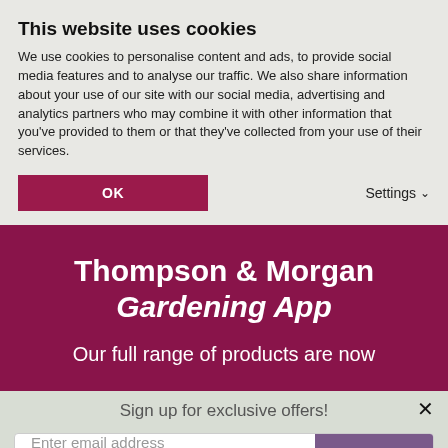This website uses cookies
We use cookies to personalise content and ads, to provide social media features and to analyse our traffic. We also share information about your use of our site with our social media, advertising and analytics partners who may combine it with other information that you've provided to them or that they've collected from your use of their services.
OK
Settings
Thompson & Morgan Gardening App
Our full range of products are now
Sign up for exclusive offers!
Enter email address
JOIN